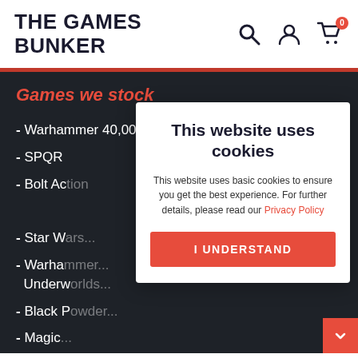[Figure (logo): The Games Bunker logo — bold uppercase text in dark navy]
[Figure (illustration): Search, user account, and shopping cart icons in the header. Cart has a red badge showing 0.]
Games we stock
- Warhammer 40,000
- Middle-Earth Strategy Battle Game
- SPQR
- Bolt Ac[tion]
- Star W[ars...]
- Warha[mmer...] Underw[orlds...]
- Black P[owder...]
- Magic [the Gathering...]
- Adeptu[s...]
- Cruel S[eas...]
- Dungeons & Dragons RPG
- Blood Red Skies
This website uses cookies
This website uses basic cookies to ensure you get the best experience. For further details, please read our Privacy Policy
I UNDERSTAND